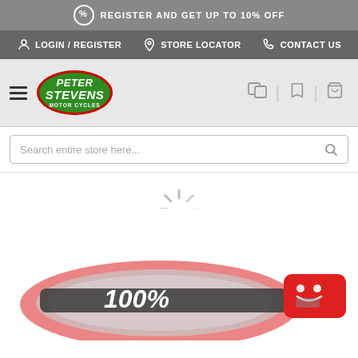REGISTER AND GET UP TO 10% OFF
LOGIN / REGISTER  STORE LOCATOR  CONTACT US
[Figure (logo): Peter Stevens Motor Cycles green oval logo]
Search entire store here...
[Figure (other): Loading spinner icon]
[Figure (photo): 100% brand motocross goggle with pink/red frame and clear lens, shown with a red discount badge]